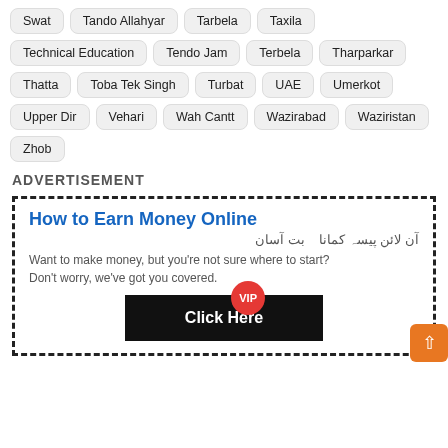Swat Tando Allahyar Tarbela Taxila Technical Education Tendo Jam Terbela Tharparkar Thatta Toba Tek Singh Turbat UAE Umerkot Upper Dir Vehari Wah Cantt Wazirabad Waziristan Zhob
ADVERTISEMENT
[Figure (infographic): Advertisement box with dashed border containing: 'How to Earn Money Online' title in blue, Urdu subtitle, descriptive text, and a black 'Click Here' button with a red VIP badge]
How to Earn Money Online
آن لائن پیسہ کمانا   بت آسان
Want to make money, but you're not sure where to start? Don't worry, we've got you covered.
Click Here